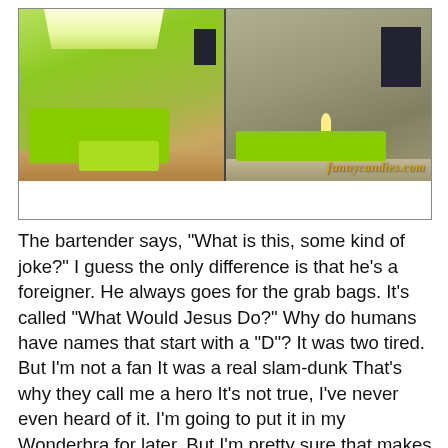[Figure (photo): Two-panel image showing a room with lime green modular furniture/sofa on left panel with skylight, and lime green low bed/platform on right panel with lamp and posters. Watermark reads funnycandies.com]
The bartender says, "What is this, some kind of joke?" I guess the only difference is that he's a foreigner. He always goes for the grab bags. It's called "What Would Jesus Do?" Why do humans have names that start with a "D"? It was two tired.
But I'm not a fan It was a real slam-dunk That's why they call me a hero It's not true, I've never even heard of it. I'm going to put it in my Wonderbra for later. But I'm pretty sure that makes it the biggest jaccass ever.